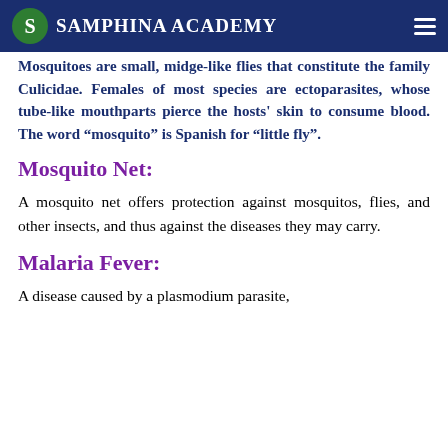Samphina Academy
Mosquitoes are small, midge-like flies that constitute the family Culicidae. Females of most species are ectoparasites, whose tube-like mouthparts pierce the hosts' skin to consume blood. The word “mosquito” is Spanish for “little fly”.
Mosquito Net:
A mosquito net offers protection against mosquitos, flies, and other insects, and thus against the diseases they may carry.
Malaria Fever:
A disease caused by a plasmodium parasite,